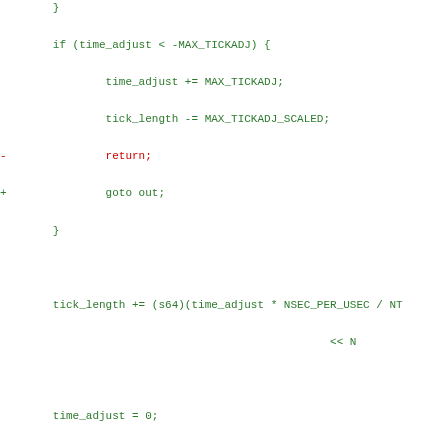Code diff showing NTP/timekeeping changes including goto out, spin_unlock_irqrestore, return leap, and CONFIG_GENERIC_CMOS_UPDATE section